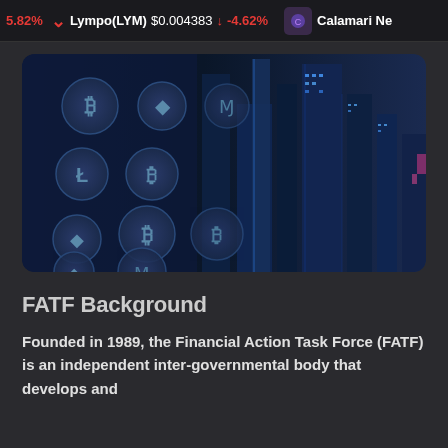5.82%   Lympo(LYM) $0.004383 ↓ -4.62%   Calamari Ne
[Figure (illustration): Dark blue themed illustration showing cryptocurrency symbols (Bitcoin, Ethereum, Litecoin, Monero) overlaid on a nighttime aerial photo of skyscrapers with blue lighting]
FATF Background
Founded in 1989, the Financial Action Task Force (FATF) is an independent inter-governmental body that develops and